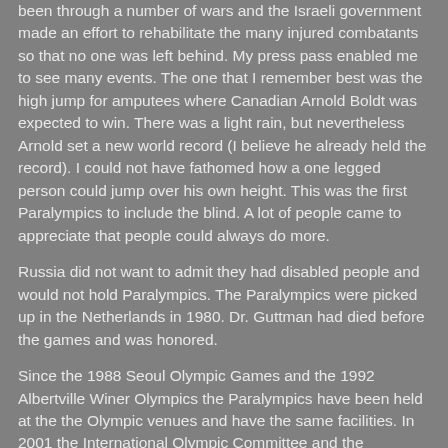been through a number of wars and the Israeli government made an effort to rehabilitate the many injured combatants so that no one was left behind.  My press pass enabled me to see many events.  The one that I remember best was the high jump for amputees where Canadian Arnold Boldt was expected to win.  There was a light rain, but nevertheless Arnold set a new world record (I believe he already held the record).  I could not have fathomed how a one legged person could jump over his own height.  This was the first Paralympics to include the blind.  A lot of people came to appreciate that people could always do more.
Russia did not want to admit they had disabled people and would not hold Paralympics.  The Paralympics were picked up in the Netherlands in 1980.   Dr. Guttman had died before the games and was honored.
Since the 1988 Seoul Olympic Games and the 1992 Albertville Winer Olympics the Paralympics have been held at the the Olympic venues and have the same facilities.  In 2001 the International Olympic Committee and the International Paralympic Committee agreed on the practice of having both at the same venues.